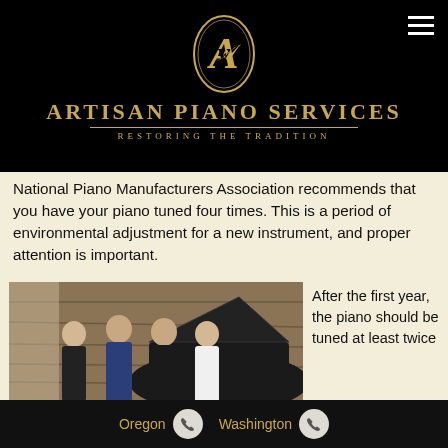[Figure (logo): Artisan Piano Services logo: gold oval with stylized A/R monogram on black background, with text ARTISAN PIANO SERVICES and tagline RESTORING THE TRADITION in gold]
National Piano Manufacturers Association recommends that you have your piano tuned four times. This is a period of environmental adjustment for a new instrument, and proper attention is important.
[Figure (photo): Group of four people standing in front of a grand piano in a room with wooden walls. A woman and three men pose together.]
After the first year, the piano should be tuned at least twice
Oregon  Washington